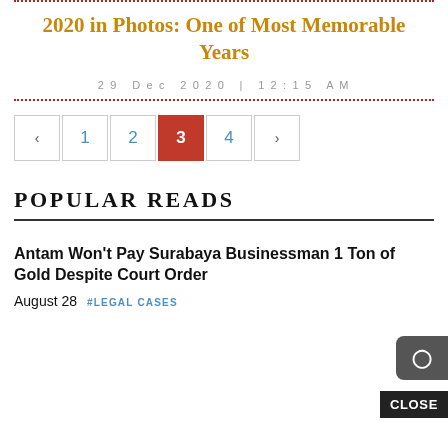2020 in Photos: One of Most Memorable Years
29 Dec 2020 | 12:15 AM
[Figure (other): Pagination control showing pages: < 1 2 3(active) 4 >]
POPULAR READS
Antam Won't Pay Surabaya Businessman 1 Ton of Gold Despite Court Order
August 28 #LEGAL CASES